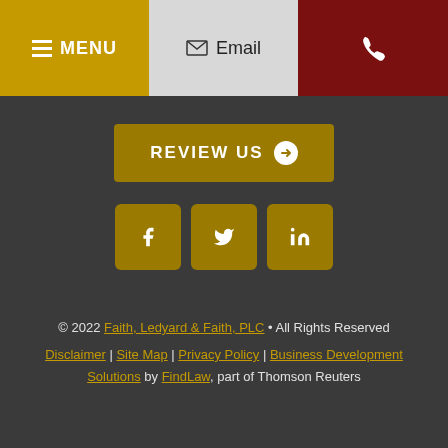MENU | Email | Phone
[Figure (other): REVIEW US button with arrow icon]
[Figure (other): Social media icons: Facebook, Twitter, LinkedIn]
© 2022 Faith, Ledyard & Faith, PLC • All Rights Reserved
Disclaimer | Site Map | Privacy Policy | Business Development Solutions by FindLaw, part of Thomson Reuters